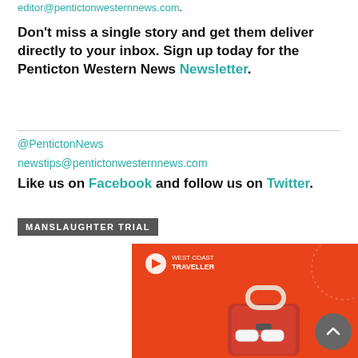editor@pentictonwesternnews.com.
Don't miss a single story and get them deliver directly to your inbox. Sign up today for the Penticton Western News Newsletter.
@PentictonNews
newstips@pentictonwesternnews.com
Like us on Facebook and follow us on Twitter.
MANSLAUGHTER TRIAL
[Figure (illustration): West Coast Traveller advertisement banner showing red luggage and sunglasses on an orange-red background with the West Coast Traveller logo.]